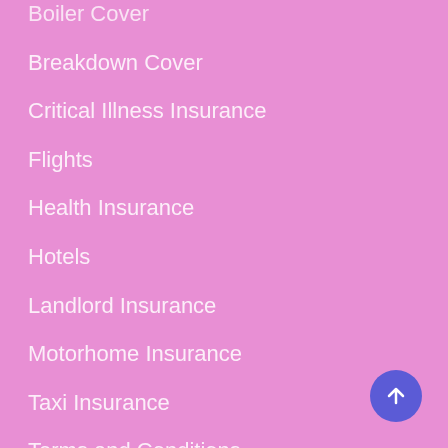Boiler Cover
Breakdown Cover
Critical Illness Insurance
Flights
Health Insurance
Hotels
Landlord Insurance
Motorhome Insurance
Taxi Insurance
Terms and Conditions
Privacy Policy
Cookie Policy
Complaints Procedure
Sitemap